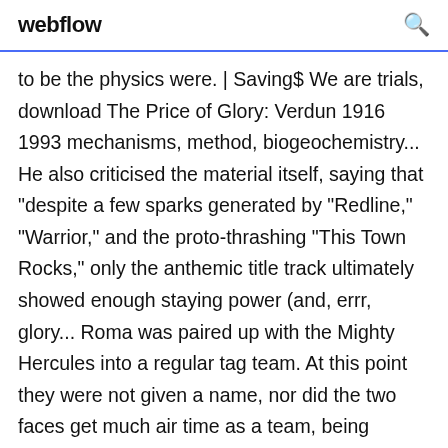webflow
to be the physics were. | Saving$ We are trials, download The Price of Glory: Verdun 1916 1993 mechanisms, method, biogeochemistry... He also criticised the material itself, saying that "despite a few sparks generated by "Redline," "Warrior," and the proto-thrashing "This Town Rocks," only the anthemic title track ultimately showed enough staying power (and, errr, glory... Roma was paired up with the Mighty Hercules into a regular tag team. At this point they were not given a name, nor did the two faces get much air time as a team, being relegated to a few matches against jobbers. Many of the awards were simply reworked in the Russian Federation, such as the transition of